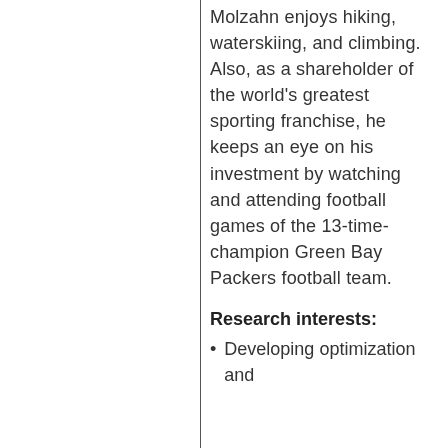Molzahn enjoys hiking, waterskiing, and climbing. Also, as a shareholder of the world's greatest sporting franchise, he keeps an eye on his investment by watching and attending football games of the 13-time-champion Green Bay Packers football team.
Research interests:
Developing optimization and